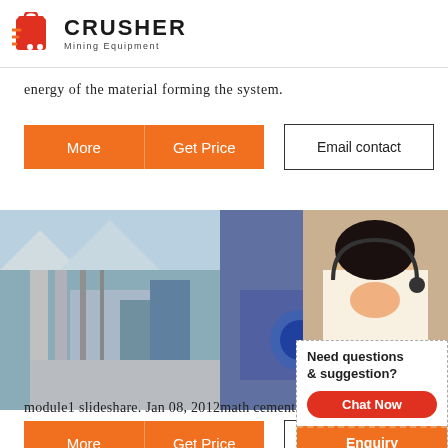[Figure (logo): Crusher Mining Equipment logo with red shopping bag icon and bold CRUSHER text]
energy of the material forming the system.
[Figure (other): Orange More/Get Price buttons and Email contact button row]
[Figure (photo): Live chat overlay with construction workers, LIVE CHAT heading, Chat now and Chat later buttons over site photos]
module1 slideshare. Jan 08, 2012math cement ...m
[Figure (other): Orange More/Get Price buttons and Email contact button row (bottom)]
[Figure (infographic): Right sidebar panel: 24Hrs Online badge, Need questions & suggestion? Chat Now button, Enquiry section, limingjlmofen@sina.com]